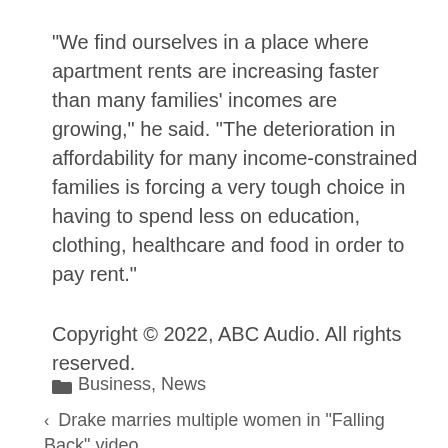“We find ourselves in a place where apartment rents are increasing faster than many families’ incomes are growing,” he said. “The deterioration in affordability for many income-constrained families is forcing a very tough choice in having to spend less on education, clothing, healthcare and food in order to pay rent.”
Copyright © 2022, ABC Audio. All rights reserved.
Business, News
‹ Drake marries multiple women in “Falling Back” video